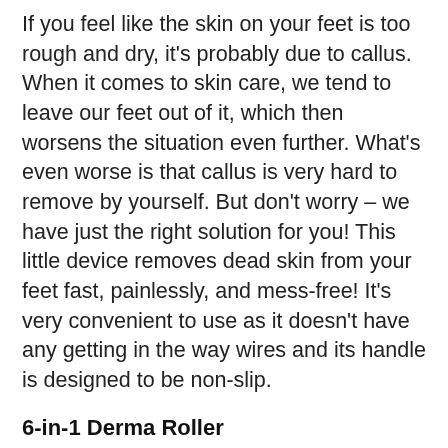If you feel like the skin on your feet is too rough and dry, it's probably due to callus. When it comes to skin care, we tend to leave our feet out of it, which then worsens the situation even further. What's even worse is that callus is very hard to remove by yourself. But don't worry – we have just the right solution for you! This little device removes dead skin from your feet fast, painlessly, and mess-free! It's very convenient to use as it doesn't have any getting in the way wires and its handle is designed to be non-slip.
6-in-1 Derma Roller
Our last (but not least) product is probably the most amazing one! This device comes with four premium quality attachments for different areas